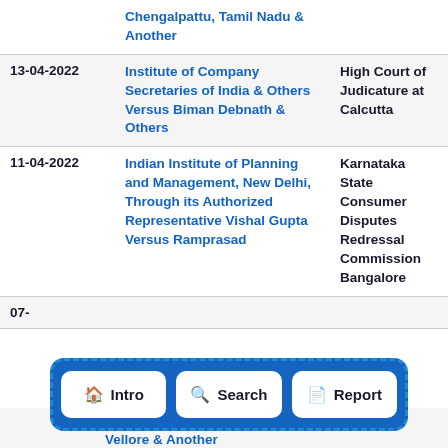| Date | Case | Court |
| --- | --- | --- |
|  | Chengalpattu, Tamil Nadu & Another |  |
| 13-04-2022 | Institute of Company Secretaries of India & Others Versus Biman Debnath & Others | High Court of Judicature at Calcutta |
| 11-04-2022 | Indian Institute of Planning and Management, New Delhi, Through its Authorized Representative Vishal Gupta Versus Ramprasad | Karnataka State Consumer Disputes Redressal Commission Bangalore |
| 07-... | Training Institute IELC, Vellore & Another |  |
[Figure (infographic): Navigation bar with three buttons: Intro (home icon), Search (search icon), Report (document icon), displayed over a blue dashed-border rounded rectangle background.]